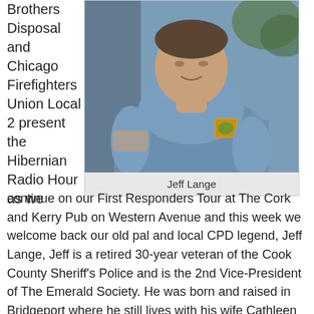Brothers Disposal and Chicago Firefighters Union Local 2 present the Hibernian Radio Hour as we
[Figure (photo): Photo of Jeff Lange, a man wearing a blue polo shirt with a logo patch, seated outdoors.]
Jeff Lange
continue on our First Responders Tour at The Cork and Kerry Pub on Western Avenue and this week we welcome back our old pal and local CPD legend, Jeff Lange, Jeff is a retired 30-year veteran of the Cook County Sheriff's Police and is the 2nd Vice-President of The Emerald Society. He was born and raised in Bridgeport where he still lives with his wife Cathleen who is also a retired cop. He did quite a lot of undercover work in Narcotics in the Metropolitan